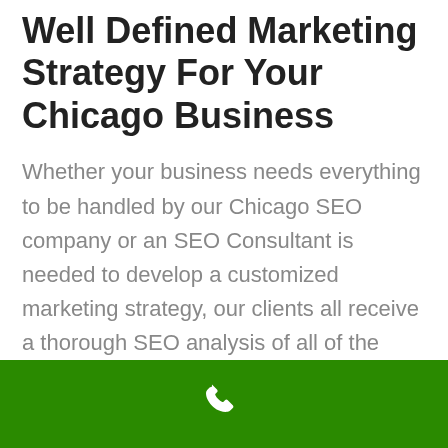Well Defined Marketing Strategy For Your Chicago Business
Whether your business needs everything to be handled by our Chicago SEO company or an SEO Consultant is needed to develop a customized marketing strategy, our clients all receive a thorough SEO analysis of all of the following core components of search engine optimization:
[Figure (other): Green footer bar with a white phone/call icon in the center]